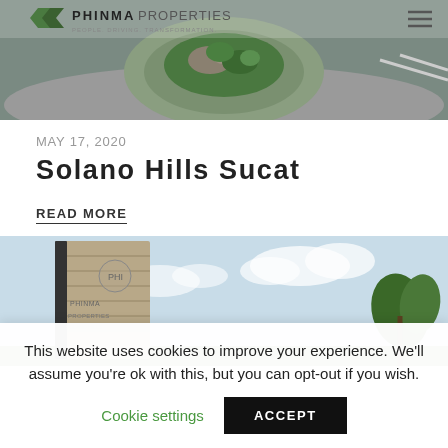[Figure (illustration): Top header image showing a landscaped roundabout with rocks and green plants, with PHINMA PROPERTIES logo and navigation menu icon visible on the image.]
MAY 17, 2020
Solano Hills Sucat
READ MORE
[Figure (illustration): Second image showing a modern building entrance with a tall wooden-paneled monolith sign/gate, blue sky background, and palm trees visible.]
This website uses cookies to improve your experience. We'll assume you're ok with this, but you can opt-out if you wish.
Cookie settings   ACCEPT